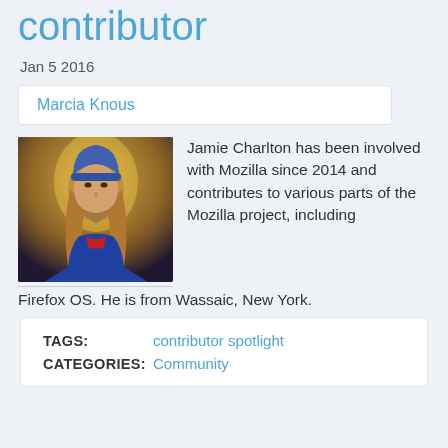contributor
Jan 5 2016
Marcia Knous
[Figure (photo): Photo of Jamie Charlton, a young man with long hair wearing a blue jacket, with a golden-lit background.]
Jamie Charlton has been involved with Mozilla since 2014 and contributes to various parts of the Mozilla project, including Firefox OS. He is from Wassaic, New York.
TAGS: contributor spotlight
CATEGORIES: Community